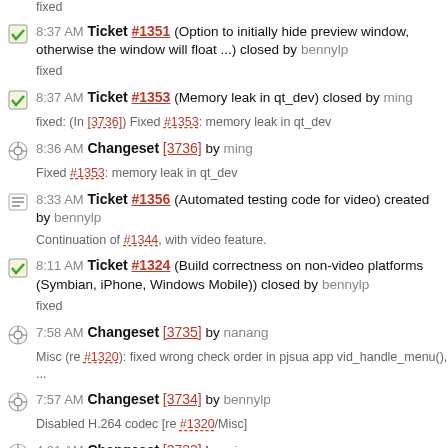fixed
8:37 AM Ticket #1351 (Option to initially hide preview window, otherwise the window will float ...) closed by bennylp
fixed
8:37 AM Ticket #1353 (Memory leak in qt_dev) closed by ming
fixed: (In [3736]) Fixed #1353: memory leak in qt_dev
8:36 AM Changeset [3736] by ming
Fixed #1353: memory leak in qt_dev
8:33 AM Ticket #1356 (Automated testing code for video) created by bennylp
Continuation of #1344, with video feature.
8:11 AM Ticket #1324 (Build correctness on non-video platforms (Symbian, iPhone, Windows Mobile)) closed by bennylp
fixed
7:58 AM Changeset [3735] by nanang
Misc (re #1320): fixed wrong check order in pjsua app vid_handle_menu(), ...
7:57 AM Changeset [3734] by bennylp
Disabled H.264 codec [re #1320/Misc]
4:21 AM Changeset [3733] by ming
Re #1354: Removed pj_run_app() from vidgui
4:16 AM Changeset [3732] by bennylp
Fixed crash when call is disconnected while video is not fully running